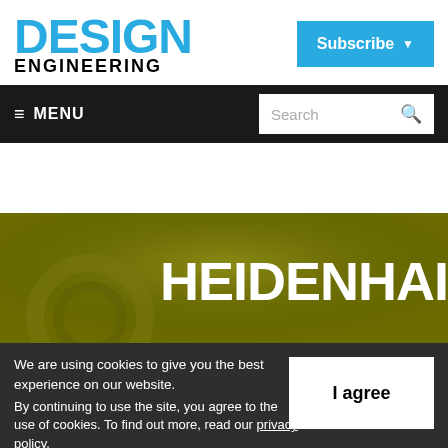DESIGN ENGINEERING
Subscribe
MENU
Search
[Figure (logo): Heidenhain logo on olive/dark yellow background with decorative mechanical gear imagery]
We are using cookies to give you the best experience on our website. By continuing to use the site, you agree to the use of cookies. To find out more, read our privacy policy.
I agree